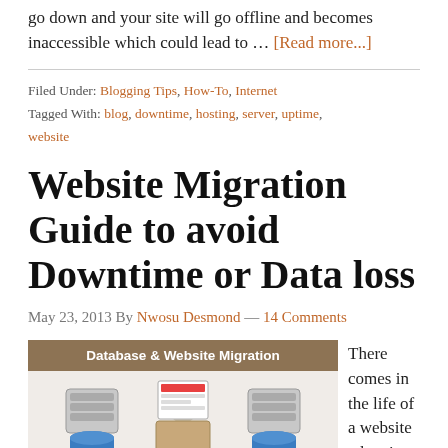go down and your site will go offline and becomes inaccessible which could lead to … [Read more...]
Filed Under: Blogging Tips, How-To, Internet
Tagged With: blog, downtime, hosting, server, uptime, website
Website Migration Guide to avoid Downtime or Data loss
May 23, 2013 By Nwosu Desmond — 14 Comments
[Figure (illustration): Database & Website Migration illustration showing two server/database icons and a figure carrying a webpage between them]
There comes in the life of a website when it